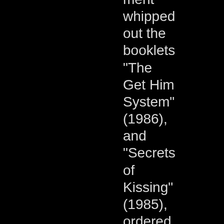ment whipped out the booklets "The Get Him System" (1986), and "Secrets of Kissing" (1985), ordered in the mid-80s from the back of a teen magazin Not only does the cover design